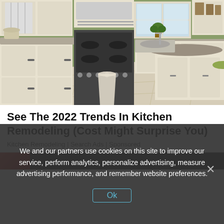[Figure (photo): Interior photo of a modern kitchen with cream/white cabinets, wooden countertops, stainless steel appliances, gas stove, overhead microwave, and green walls. A kitchen island with a curved edge is visible on the right side.]
See The 2022 Trends In Kitchen Remodeling (Cost Might Surprise You)
Kitchen Remodeling | Search Ads | Sponsored
[Figure (photo): Partial view of a dark-themed advertisement strip, partially obscured by cookie consent overlay.]
We and our partners use cookies on this site to improve our service, perform analytics, personalize advertising, measure advertising performance, and remember website preferences.